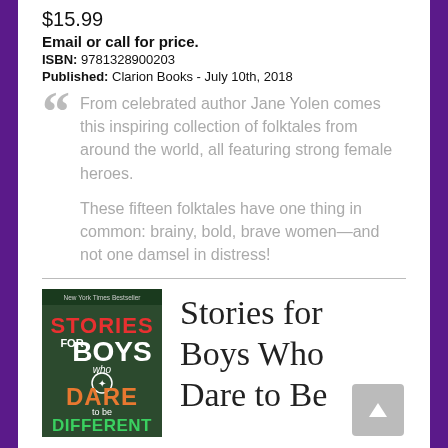$15.99
Email or call for price.
ISBN: 9781328900203
Published: Clarion Books - July 10th, 2018
From celebrated author Jane Yolen comes this inspiring collection of folktales from around the world, all featuring strong female heroes.

These fifteen folktales have one thing in common: brainy, bold, brave women—and not one damsel in distress!
[Figure (illustration): Book cover for 'Stories for Boys Who Dare to Be Different' with colorful illustrated lettering on a dark background]
Stories for Boys Who Dare to Be